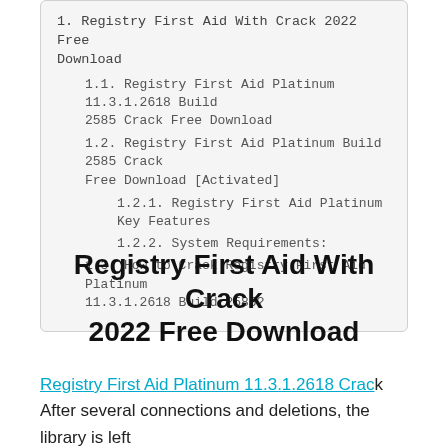1. Registry First Aid With Crack 2022 Free Download
1.1. Registry First Aid Platinum 11.3.1.2618 Build 2585 Crack Free Download
1.2. Registry First Aid Platinum Build 2585 Crack Free Download [Activated]
1.2.1. Registry First Aid Platinum Key Features
1.2.2. System Requirements:
1.3. How to Crack Registry First Aid Platinum 11.3.1.2618 Build 2585?
Registry First Aid With Crack 2022 Free Download
Registry First Aid Platinum 11.3.1.2618 Crack After several connections and deletions, the library is left